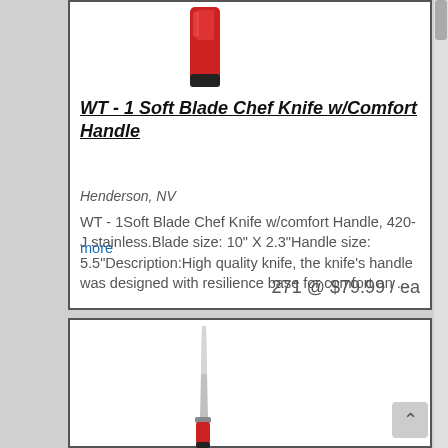[Figure (photo): Product photo of a chef knife with red and black handle, top portion visible]
WT - 1 Soft Blade Chef Knife w/Comfort Handle
Henderson, NV
WT - 1Soft Blade Chef Knife w/comfort Handle, 420-J stainless.Blade size: 10" X 2.3"Handle size: 5.5"Description:High quality knife, the knife's handle was designed with resilience base for comfort an ...
more
271 @ $79.99 / ea
[Figure (photo): Product photo of a chef knife with silver blade and red handle, full knife visible vertically]